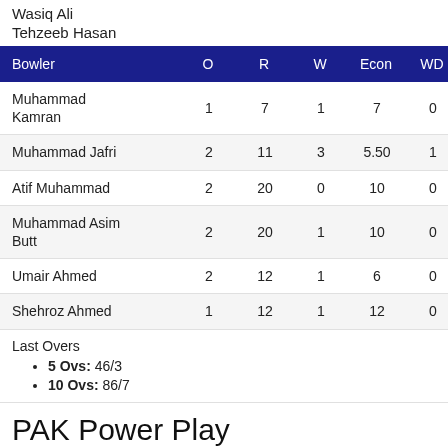Wasiq Ali
Tehzeeb Hasan
| Bowler | O | R | W | Econ | WD |
| --- | --- | --- | --- | --- | --- |
| Muhammad Kamran | 1 | 7 | 1 | 7 | 0 |
| Muhammad Jafri | 2 | 11 | 3 | 5.50 | 1 |
| Atif Muhammad | 2 | 20 | 0 | 10 | 0 |
| Muhammad Asim Butt | 2 | 20 | 1 | 10 | 0 |
| Umair Ahmed | 2 | 12 | 1 | 6 | 0 |
| Shehroz Ahmed | 1 | 12 | 1 | 12 | 0 |
Last Overs
5 Ovs: 46/3
10 Ovs: 86/7
PAK Power Play